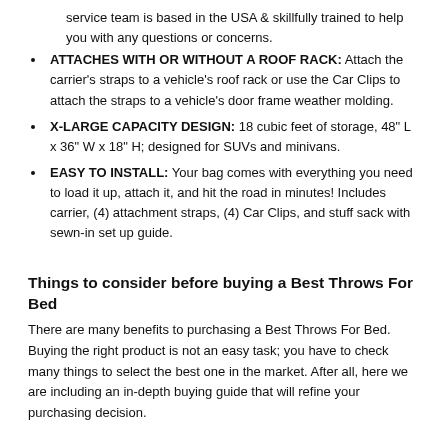service team is based in the USA & skillfully trained to help you with any questions or concerns.
ATTACHES WITH OR WITHOUT A ROOF RACK: Attach the carrier's straps to a vehicle's roof rack or use the Car Clips to attach the straps to a vehicle's door frame weather molding.
X-LARGE CAPACITY DESIGN: 18 cubic feet of storage, 48" L x 36" W x 18" H; designed for SUVs and minivans.
EASY TO INSTALL: Your bag comes with everything you need to load it up, attach it, and hit the road in minutes! Includes carrier, (4) attachment straps, (4) Car Clips, and stuff sack with sewn-in set up guide.
Things to consider before buying a Best Throws For Bed
There are many benefits to purchasing a Best Throws For Bed. Buying the right product is not an easy task; you have to check many things to select the best one in the market. After all, here we are including an in-depth buying guide that will refine your purchasing decision.